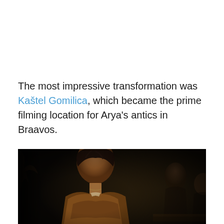The most impressive transformation was Kaštel Gomilica, which became the prime filming location for Arya's antics in Braavos.
[Figure (photo): A dark cinematic still from Game of Thrones showing a young woman (Arya Stark) in the foreground wearing a brown/gold textured garment, with background figures in a dimly lit medieval tavern or market setting.]